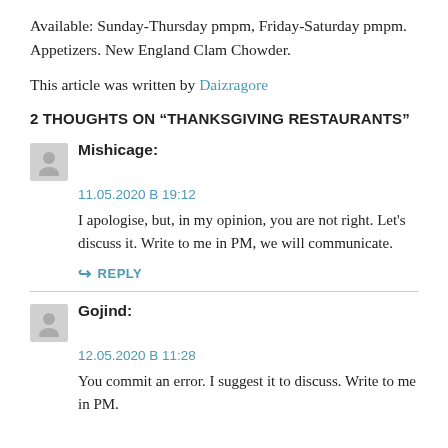Available: Sunday-Thursday pmpm, Friday-Saturday pmpm. Appetizers. New England Clam Chowder.
This article was written by Daizragore
2 THOUGHTS ON “THANKSGIVING RESTAURANTS”
Mishicage:
11.05.2020 B 19:12
I apologise, but, in my opinion, you are not right. Let's discuss it. Write to me in PM, we will communicate.
REPLY
Gojind:
12.05.2020 B 11:28
You commit an error. I suggest it to discuss. Write to me in PM.